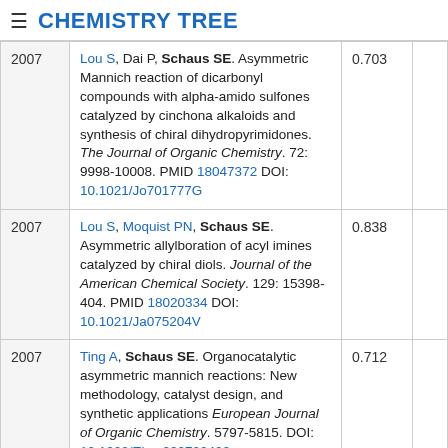≡ CHEMISTRY TREE
| Year | Reference | Score |  |
| --- | --- | --- | --- |
| 2007 | Lou S, Dai P, Schaus SE. Asymmetric Mannich reaction of dicarbonyl compounds with alpha-amido sulfones catalyzed by cinchona alkaloids and synthesis of chiral dihydropyrimidones. The Journal of Organic Chemistry. 72: 9998-10008. PMID 18047372 DOI: 10.1021/Jo701777G | 0.703 |  |
| 2007 | Lou S, Moquist PN, Schaus SE. Asymmetric allylboration of acyl imines catalyzed by chiral diols. Journal of the American Chemical Society. 129: 15398-404. PMID 18020334 DOI: 10.1021/Ja075204V | 0.838 |  |
| 2007 | Ting A, Schaus SE. Organocatalytic asymmetric mannich reactions: New methodology, catalyst design, and synthetic applications European Journal of Organic Chemistry. 5797-5815. DOI: 10.1002/Ejoc.200700409 | 0.712 |  |
| 2007 | Ting A, Schaus SE. Organocatalysis and library | 0.671 |  |